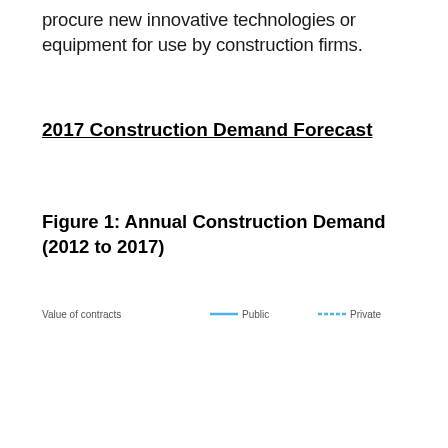procure new innovative technologies or equipment for use by construction firms.
2017 Construction Demand Forecast
Figure 1: Annual Construction Demand (2012 to 2017)
[Figure (line-chart): Partially visible legend area at the bottom of the figure, showing 'Value of contracts' label and two blue horizontal legend lines with associated text labels, chart content is cut off]